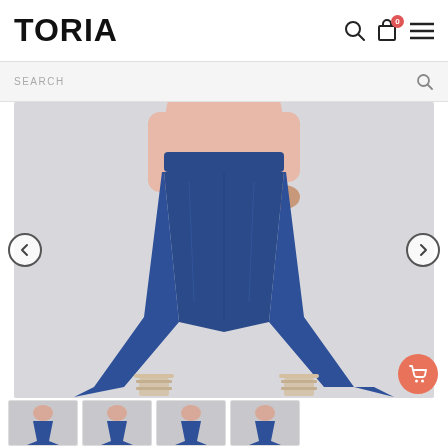TORIA
SEARCH
[Figure (photo): Woman wearing blue denim flare/cropped jeans with a pink top and beige strappy heeled sandals, shown from waist down against a grey background. Product image for an e-commerce fashion website.]
[Figure (photo): Four thumbnail images at the bottom showing different angles or views of the same denim jeans product on a model.]